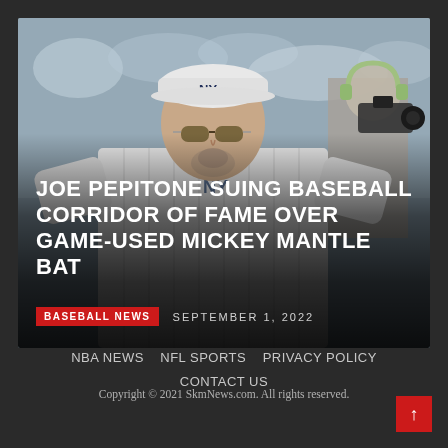[Figure (photo): A man wearing a New York Yankees pinstripe uniform and NY cap with sunglasses, arms spread wide, standing at a baseball stadium. A TV camera crew with headphones is visible in the background.]
JOE PEPITONE SUING BASEBALL CORRIDOR OF FAME OVER GAME-USED MICKEY MANTLE BAT
BASEBALL NEWS   SEPTEMBER 1, 2022
NBA NEWS   NFL SPORTS   PRIVACY POLICY   CONTACT US
Copyright © 2021 SkmNews.com. All rights reserved.